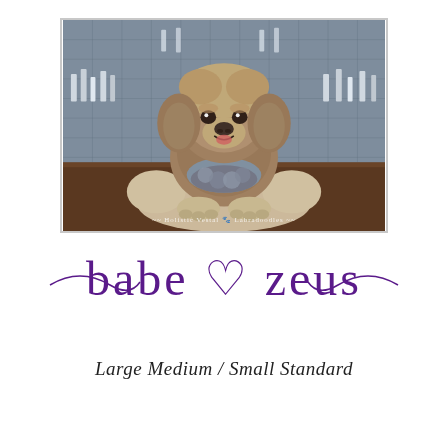[Figure (photo): A fluffy labradoodle dog sitting on a wooden floor in front of a metal mesh cabinet filled with bottles, wearing a ruffled bandana. Watermark reads 'Holistic Vestal Labradoodles'.]
babe ♡ zeus
Large Medium / Small Standard